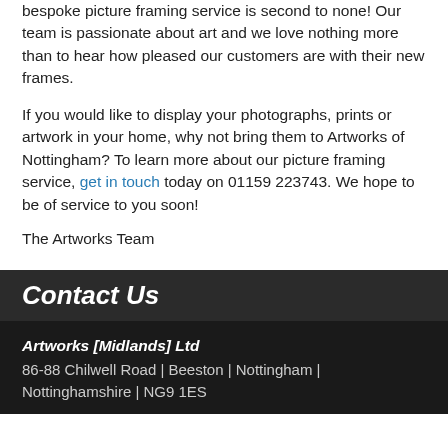bespoke picture framing service is second to none! Our team is passionate about art and we love nothing more than to hear how pleased our customers are with their new frames.
If you would like to display your photographs, prints or artwork in your home, why not bring them to Artworks of Nottingham? To learn more about our picture framing service, get in touch today on 01159 223743. We hope to be of service to you soon!
The Artworks Team
Contact Us
Artworks [Midlands] Ltd
86-88 Chilwell Road | Beeston | Nottingham | Nottinghamshire | NG9 1ES